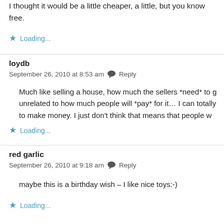I thought it would be a little cheaper, a little, but you know free.
Loading...
loydb
September 26, 2010 at 8:53 am  Reply
Much like selling a house, how much the sellers *need* to get is unrelated to how much people will *pay* for it… I can totally to make money. I just don't think that means that people w
Loading...
red garlic
September 26, 2010 at 9:18 am  Reply
maybe this is a birthday wish – I like nice toys:-)
Loading...